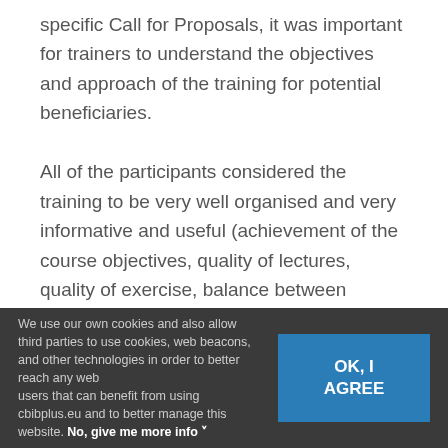specific Call for Proposals, it was important for trainers to understand the objectives and approach of the training for potential beneficiaries.
All of the participants considered the training to be very well organised and very informative and useful (achievement of the course objectives, quality of lectures, quality of exercise, balance between lectures and exercise, role of the trainer, the training materials, the general organization of the
We use our own cookies and also allow third parties to use cookies, web beacons, and other technologies in order to better reach any web users that can benefit from using cbibplus.eu and to better manage this website. No, give me more info ˅